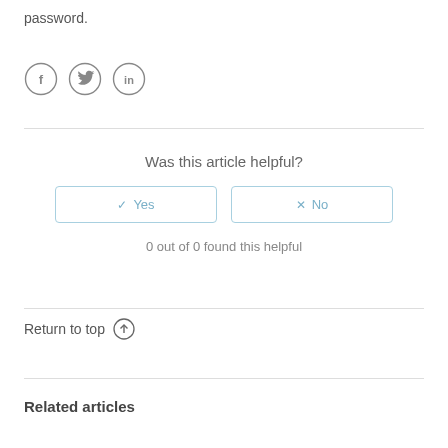password.
[Figure (illustration): Social media sharing icons: Facebook (f), Twitter (bird), LinkedIn (in) — circular outlined icons]
Was this article helpful?
✓ Yes   ✗ No
0 out of 0 found this helpful
Return to top ↑
Related articles